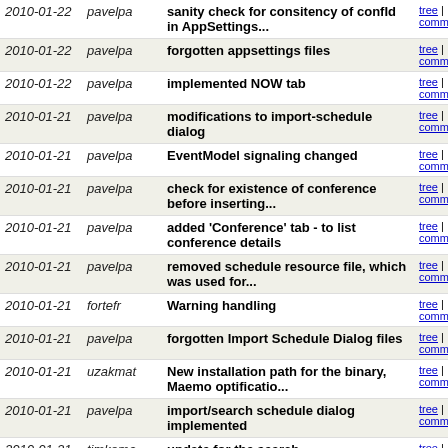| Date | Author | Message | Links |
| --- | --- | --- | --- |
| 2010-01-22 | pavelpa | sanity check for consitency of confId in AppSettings... | tree | commitdiff |
| 2010-01-22 | pavelpa | forgotten appsettings files | tree | commitdiff |
| 2010-01-22 | pavelpa | implemented NOW tab | tree | commitdiff |
| 2010-01-21 | pavelpa | modifications to import-schedule dialog | tree | commitdiff |
| 2010-01-21 | pavelpa | EventModel signaling changed | tree | commitdiff |
| 2010-01-21 | pavelpa | check for existence of conference before inserting... | tree | commitdiff |
| 2010-01-21 | pavelpa | added 'Conference' tab - to list conference details | tree | commitdiff |
| 2010-01-21 | pavelpa | removed schedule resource file, which was used for... | tree | commitdiff |
| 2010-01-21 | fortefr | Warning handling | tree | commitdiff |
| 2010-01-21 | pavelpa | forgotten Import Schedule Dialog files | tree | commitdiff |
| 2010-01-21 | uzakmat | New installation path for the binary, Maemo optificatio... | tree | commitdiff |
| 2010-01-21 | pavelpa | import/search schedule dialog implemented | tree | commitdiff |
| 2010-01-21 | timkoma | update for the search | tree | commitdiff |